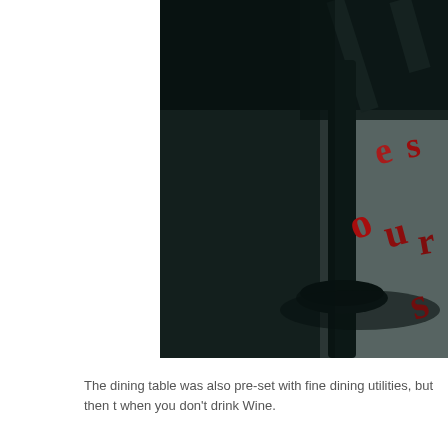[Figure (photo): Dark close-up photo of a dining table scene with chair legs visible and red letters/numbers scattered on a gray textured surface]
The dining table was also pre-set with fine dining utilities, but then t when you don't drink Wine.